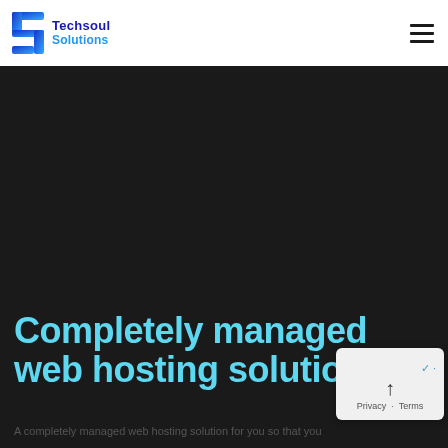[Figure (logo): Techsoul Solutions logo with stylized blue T icon and company name]
Completely managed web hosting solution
A completely managed web hosting solution for you so that you